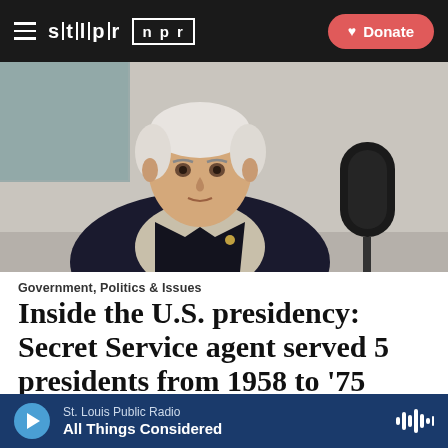STLPR NPR — Donate
[Figure (photo): Elderly man with white hair in a dark blazer seated in a recording studio in front of a black microphone]
Government, Politics & Issues
Inside the U.S. presidency: Secret Service agent served 5 presidents from 1958 to '75
St. Louis Public Radio — All Things Considered